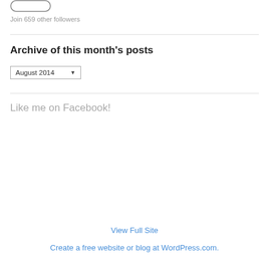[Figure (other): Rounded button/widget at top left (partial, cropped)]
Join 659 other followers
Archive of this month's posts
[Figure (other): Dropdown select box showing 'August 2014']
Like me on Facebook!
View Full Site
Create a free website or blog at WordPress.com.